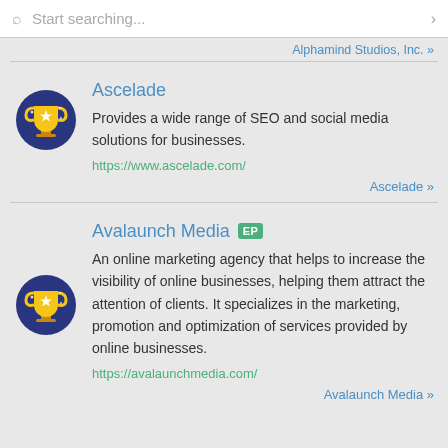Start searching...
Alphamind Studios, Inc. »
Ascelade
Provides a wide range of SEO and social media solutions for businesses.
https://www.ascelade.com/
Ascelade »
Avalaunch Media EP
An online marketing agency that helps to increase the visibility of online businesses, helping them attract the attention of clients. It specializes in the marketing, promotion and optimization of services provided by online businesses.
https://avalaunchmedia.com/
Avalaunch Media »